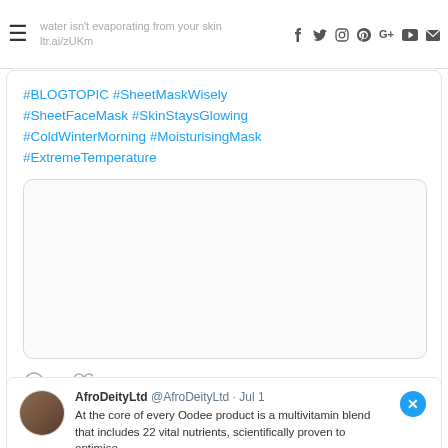water isn't evaporating from your skin ltr.ai/zUKm
#BLOGTOPIC #SheetMaskWisely #SheetFaceMask #SkinStaysGlowing #ColdWinterMorning #MoisturisingMask #ExtremeTemperature
[Figure (photo): Blank/empty image placeholder in a rounded rectangle]
AfroDeityLtd @AfroDeityLtd · Jul 1
At the core of every Oodee product is a multivitamin blend that includes 22 vital nutrients, scientifically proven to optimise